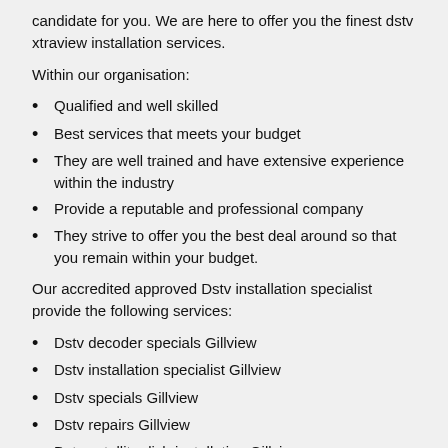candidate for you. We are here to offer you the finest dstv xtraview installation services.
Within our organisation:
Qualified and well skilled
Best services that meets your budget
They are well trained and have extensive experience within the industry
Provide a reputable and professional company
They strive to offer you the best deal around so that you remain within your budget.
Our accredited approved Dstv installation specialist provide the following services:
Dstv decoder specials Gillview
Dstv installation specialist Gillview
Dstv specials Gillview
Dstv repairs Gillview
Dstv satellite dish installation Gillview
Accredited dstv installers Gillview
Dstv hd pvr explora installation Gillview
Dstv installation Gillview
Lnb installation Gillview
Dstv dish alignment Gillview
Dstv instollers Gillview
Dstv accredited installers Gillview